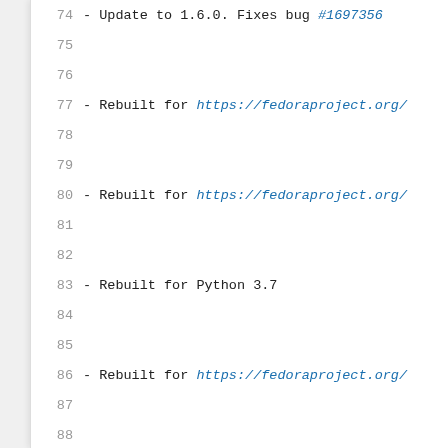74 - Update to 1.6.0. Fixes bug #1697356
77 - Rebuilt for https://fedoraproject.org/
80 - Rebuilt for https://fedoraproject.org/
83 - Rebuilt for Python 3.7
86 - Rebuilt for https://fedoraproject.org/
89 - Update Python 2 dependency declaration
90   (See https://fedoraproject.org/wiki/Fi
93 - Add Requires for pytest
96 - Initial version.